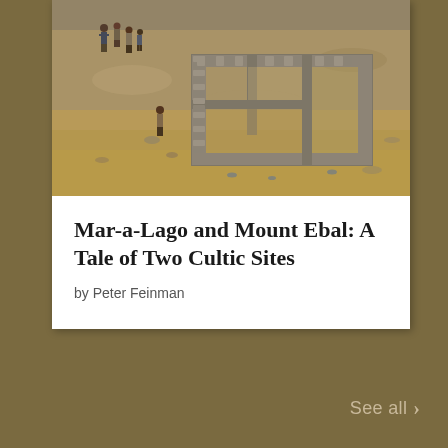[Figure (photo): Aerial view of ancient stone ruins on a dry hillside with several people visible near the site, showing rectangular stone wall foundations at what appears to be an archaeological excavation site.]
Mar-a-Lago and Mount Ebal: A Tale of Two Cultic Sites
by Peter Feinman
See all >